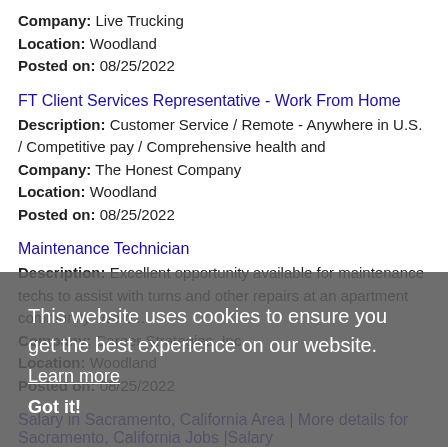Company: Live Trucking
Location: Woodland
Posted on: 08/25/2022
FT Client Services Representative - Work From Home
Description: Customer Service / Remote - Anywhere in U.S. / Competitive pay / Comprehensive health and
Company: The Honest Company
Location: Woodland
Posted on: 08/25/2022
Maintenance Technician
Description: Excellent opportunity available for maintenance techs to assist with turns and other repairs at an apartment community. We o...
Company: Career Strategies, Inc.
Location: Woodland
Posted on: 08/25/2022
Salary in Sacramento, California Area | More details for Sacramento, California Jobs |Salary
CDL-A Flatbed Truck Driver
Description: Hiring CDL Flatbed drivers in West Sacramento, CA...